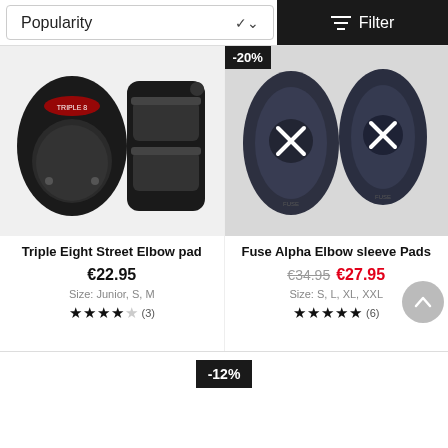Popularity
Filter
[Figure (photo): Triple Eight Street Elbow pad - two black elbow pads shown side by side]
[Figure (photo): Fuse Alpha Elbow sleeve Pads - two dark blue/black padded elbow sleeves with X logo, -20% discount badge]
Triple Eight Street Elbow pad
€22.95
Size: Junior, S, M
★★★★☆ (3)
Fuse Alpha Elbow sleeve Pads
€34.95 €27.95
Size: S, L, XL, XXL
★★★★★ (6)
-12%